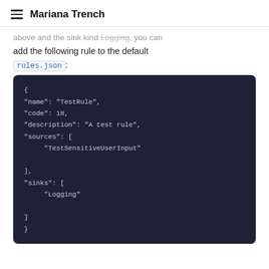Mariana Trench
above and the sink kind Logging, you can add the following rule to the default rules.json:
[Figure (screenshot): JSON code block showing a rule definition with name TestRule, code 18, description A test rule, sources TestSensitiveUserInput, sinks Logging]